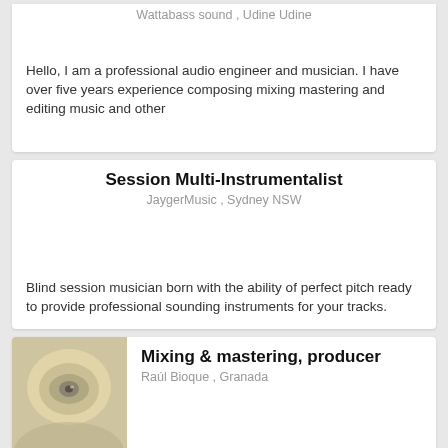Wattabass sound , Udine Udine
Hello, I am a professional audio engineer and musician. I have over five years experience composing mixing mastering and editing music and other
Session Multi-Instrumentalist
JaygerMusic , Sydney NSW
Blind session musician born with the ability of perfect pitch ready to provide professional sounding instruments for your tracks.
Mixing & mastering, producer
Raúl Bioque , Granada
As a professional songwriter, producer and sound engineer I worked for